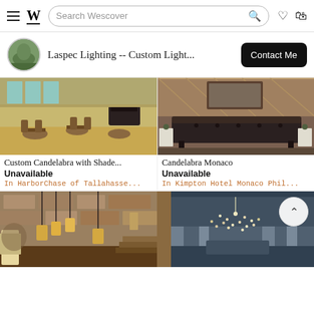Search Wescover
Laspec Lighting -- Custom Light...
Contact Me
[Figure (photo): Interior dining room with round tables, chairs, beige carpet, and a grand piano in background with large windows]
Custom Candelabra with Shade...
Unavailable
In HarborChase of Tallahasse...
[Figure (photo): Dark leather tufted sofa against wood-paneled wall with two white side tables in a hotel lobby]
Candelabra Monaco
Unavailable
In Kimpton Hotel Monaco Phil...
[Figure (photo): Rustic hotel interior with hanging pendant lights, stone walls, and wooden decor elements]
[Figure (photo): Modern hotel lobby with dramatic crystal chandelier installation and architectural columns]